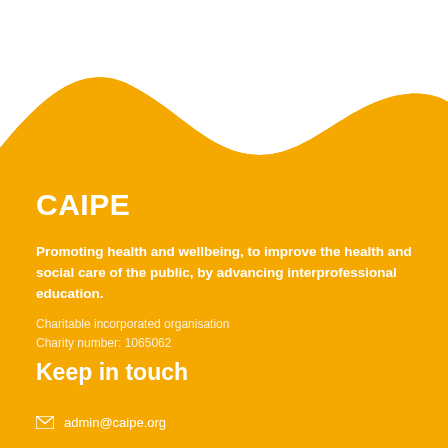[Figure (illustration): Amber/golden yellow wave shape filling the bottom portion of the page, with white background at top. The wave curves from lower-left to upper-right creating a flowing transition.]
CAIPE
Promoting health and wellbeing, to improve the health and social care of the public, by advancing interprofessional education.
Charitable incorporated organisation
Charity number: 1065062
Keep in touch
admin@caipe.org